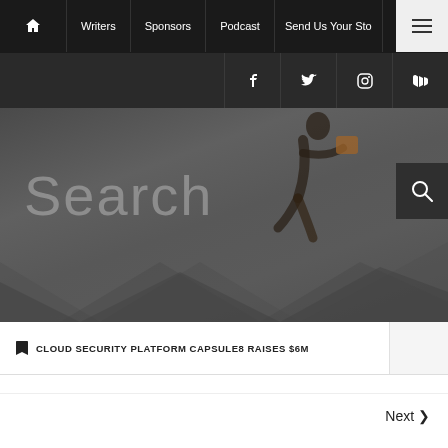Home | Writers | Sponsors | Podcast | Send Us Your Sto... | Menu
Social icons: Facebook, Twitter, Instagram, RSS
[Figure (screenshot): Hero search section with dark background showing a running silhouette and arrow shapes. Large 'Search' text on left and search icon button on right.]
CLOUD SECURITY PLATFORM CAPSULE8 RAISES $6M
Next >